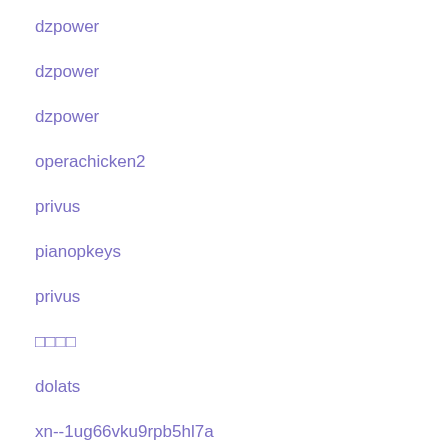dzpower
dzpower
dzpower
operachicken2
privus
pianopkeys
privus
□□□□
dolats
xn--1ug66vku9rpb5hl7a
□□□
nadjib
…